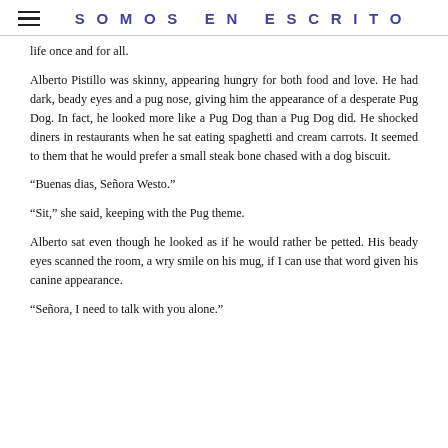SOMOS EN ESCRITO
life once and for all.
Alberto Pistillo was skinny, appearing hungry for both food and love. He had dark, beady eyes and a pug nose, giving him the appearance of a desperate Pug Dog. In fact, he looked more like a Pug Dog than a Pug Dog did. He shocked diners in restaurants when he sat eating spaghetti and cream carrots. It seemed to them that he would prefer a small steak bone chased with a dog biscuit.
“Buenas dias, Señora Westo.”
“Sit,” she said, keeping with the Pug theme.
Alberto sat even though he looked as if he would rather be petted. His beady eyes scanned the room, a wry smile on his mug, if I can use that word given his canine appearance.
“Señora, I need to talk with you alone.”